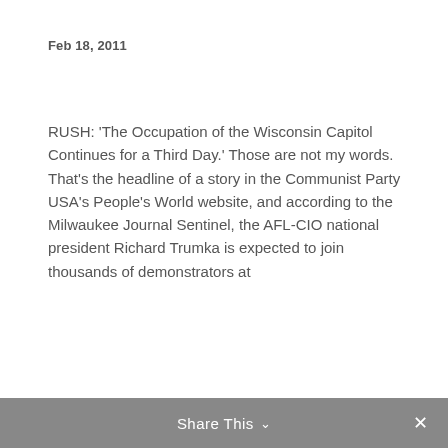Feb 18, 2011
RUSH: ‘The Occupation of the Wisconsin Capitol Continues for a Third Day.’ Those are not my words. That’s the headline of a story in the Communist Party USA’s People’s World website, and according to the Milwaukee Journal Sentinel, the AFL-CIO national president Richard Trumka is expected to join thousands of demonstrators at
Share This ∨  ×